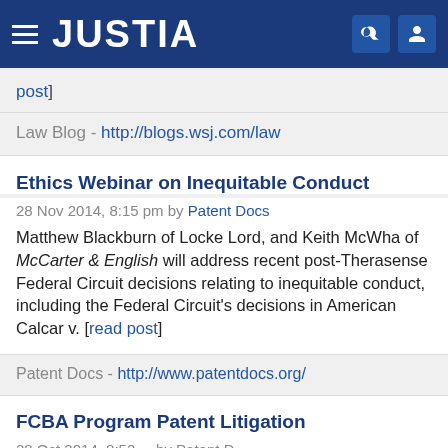JUSTIA
post]
Law Blog - http://blogs.wsj.com/law
Ethics Webinar on Inequitable Conduct
28 Nov 2014, 8:15 pm by Patent Docs
Matthew Blackburn of Locke Lord, and Keith McWha of McCarter & English will address recent post-Therasense Federal Circuit decisions relating to inequitable conduct, including the Federal Circuit's decisions in American Calcar v. [read post]
Patent Docs - http://www.patentdocs.org/
FCBA Program Patent Litigation
28 Oct 2014, 8:52 ...  by Patent D...